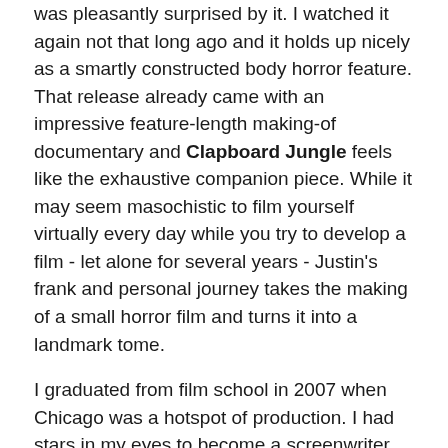was pleasantly surprised by it. I watched it again not that long ago and it holds up nicely as a smartly constructed body horror feature. That release already came with an impressive feature-length making-of documentary and Clapboard Jungle feels like the exhaustive companion piece. While it may seem masochistic to film yourself virtually every day while you try to develop a film - let alone for several years - Justin's frank and personal journey takes the making of a small horror film and turns it into a landmark tome.
I graduated from film school in 2007 when Chicago was a hotspot of production. I had stars in my eyes to become a screenwriter, I'd sent out a few of my projects and was getting some nibbles and interest for representation. It was exciting, exhausting, and